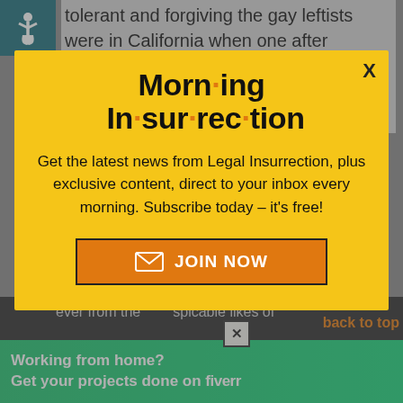tolerant and forgiving the gay leftists were in California when one after another they called blacks the n-word and other vicious slurs after the defeat of Prop 8.
[Figure (infographic): Morning Insurrection newsletter subscription modal popup with yellow background, title 'Morn·ing In·sur·rec·tion', subscription call-to-action text, and orange JOIN NOW button]
ever from the despicable likes of
[Figure (infographic): Fiverr advertisement banner in green: 'Working from home? Get your projects done on fiverr']